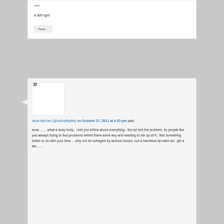said:
a stiff right
Reply ↓
[Figure (other): Avatar image placeholder with broken image icon]
dena fletcher (@hellokittylitle) on October 27, 2011 at 4:25 pm said:
wow……..what a busy body.. i bet you whine about everything.. the ad isnt the problem, its people like you always trying to find problems where there arent any and wanting to stir up sh*t.. find something better to do with your time….why not be outraged by serious issues, not a harmless lip balm ad.. get a life……